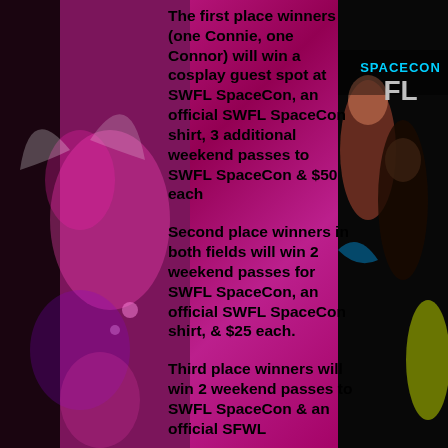[Figure (illustration): Colorful anime/cartoon style background with illustrated female characters on magenta/pink background. Left side shows illustrated character with wings and accessories. Right side shows illustrated characters on dark background with 'SWFL SPACECON Ft. Myers, FL' text visible.]
The first place winners (one Connie, one Connor) will win a cosplay guest spot at SWFL SpaceCon, an official SWFL SpaceCon shirt, 3 additional weekend passes to SWFL SpaceCon & $50 each
Second place winners in both fields will win 2 weekend passes for SWFL SpaceCon, an official SWFL SpaceCon shirt, & $25 each.
Third place winners will win 2 weekend passes to SWFL SpaceCon & an official SFWL